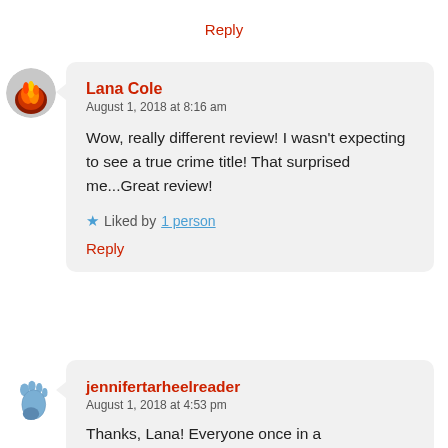Reply
Lana Cole
August 1, 2018 at 8:16 am

Wow, really different review! I wasn't expecting to see a true crime title! That surprised me...Great review!

Liked by 1 person

Reply
jennifertarheelreader
August 1, 2018 at 4:53 pm

Thanks, Lana! Everyone once in a